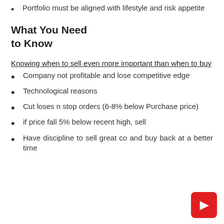Portfolio must be aligned with lifestyle and risk appetite
What You Need to Know
Knowing when to sell even more important than when to buy
Company not profitable and lose competitive edge
Technological reasons
Cut loses n stop orders (6-8% below Purchase price)
if price fall 5% below recent high, sell
Have discipline to sell great co and buy back at a better time